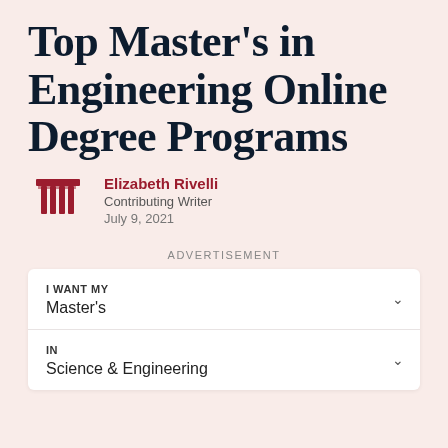Top Master's in Engineering Online Degree Programs
Elizabeth Rivelli
Contributing Writer
July 9, 2021
ADVERTISEMENT
I WANT MY
Master's
IN
Science & Engineering